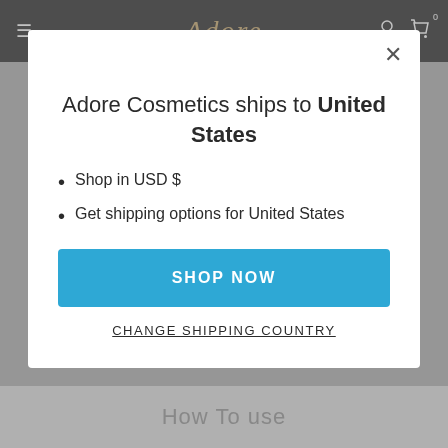Adore
Adore Cosmetics ships to United States
Shop in USD $
Get shipping options for United States
SHOP NOW
CHANGE SHIPPING COUNTRY
How To use